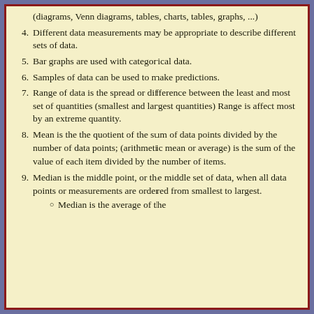(diagrams, Venn diagrams, tables, charts, tables, graphs, ...)
4. Different data measurements may be appropriate to describe different sets of data.
5. Bar graphs are used with categorical data.
6. Samples of data can be used to make predictions.
7. Range of data is the spread or difference between the least and most set of quantities (smallest and largest quantities) Range is affect most by an extreme quantity.
8. Mean is the the quotient of the sum of data points divided by the number of data points; (arithmetic mean or average) is the sum of the value of each item divided by the number of items.
9. Median is the middle point, or the middle set of data, when all data points or measurements are ordered from smallest to largest.
Median is the average of the